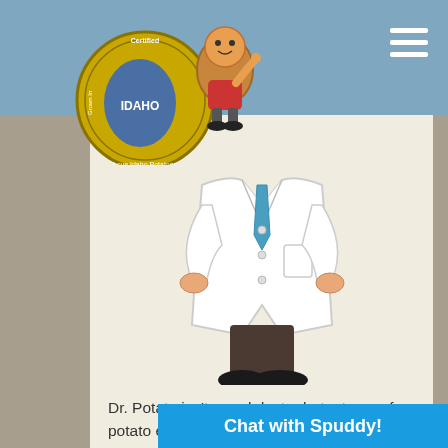Certified Idaho Potatoes logo and navigation
[Figure (illustration): A cartoon doctor character wearing a white lab coat with a blue tie, hands on hips, with dark pants and black shoes. The character has no visible head in the image crop.]
Dr. Potato isn't a real doctor but a team of potato experts ready to answer all your potato questions.
Have a question? Dr. Potato will be sure to get your question answered within a wee...
[Figure (other): Chat with Spuddy! blue button]